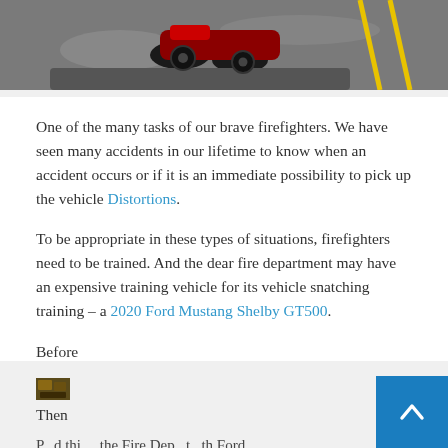[Figure (photo): Top portion of a photo showing a motorcycle or vehicle on asphalt with yellow lines]
One of the many tasks of our brave firefighters. We have seen many accidents in our lifetime to know when an accident occurs or if it is an immediate possibility to pick up the vehicle Distortions.
To be appropriate in these types of situations, firefighters need to be trained. And the dear fire department may have an expensive training vehicle for its vehicle snatching training – a 2020 Ford Mustang Shelby GT500.
Before
[Figure (photo): Small thumbnail image]
Then
Posted this...the Fire Department...Ford...